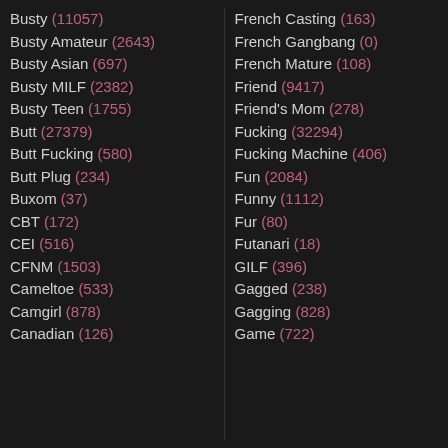Busty (11057)
Busty Amateur (2643)
Busty Asian (697)
Busty MILF (2382)
Busty Teen (1755)
Butt (27379)
Butt Fucking (580)
Butt Plug (234)
Buxom (37)
CBT (172)
CEI (516)
CFNM (1503)
Cameltoe (533)
Camgirl (878)
Canadian (126)
French Casting (163)
French Gangbang (0)
French Mature (108)
Friend (9417)
Friend's Mom (278)
Fucking (32294)
Fucking Machine (406)
Fun (2084)
Funny (1112)
Fur (80)
Futanari (18)
GILF (396)
Gagged (238)
Gagging (828)
Game (722)